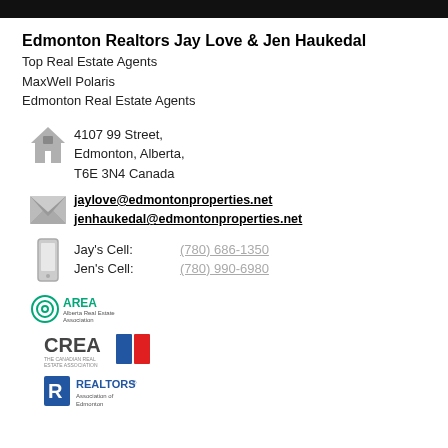Edmonton Realtors Jay Love & Jen Haukedal
Top Real Estate Agents
MaxWell Polaris
Edmonton Real Estate Agents
4107 99 Street,
Edmonton, Alberta,
T6E 3N4 Canada
jaylove@edmontonproperties.net
jenhaukedal@edmontonproperties.net
Jay's Cell: (780) 686-1350
Jen's Cell: (780) 990-6980
[Figure (logo): AREA Alberta Real Estate Association logo]
[Figure (logo): CREA The Canadian Real Estate Association logo]
[Figure (logo): REALTORS Association of Edmonton logo]